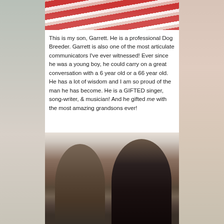[Figure (photo): Top portion of a photo showing a person wearing a red and white striped shirt, cropped at the shoulders/chest level]
This is my son, Garrett. He is a professional Dog Breeder. Garrett is also one of the most articulate communicators I've ever witnessed! Ever since he was a young boy, he could carry on a great conversation with a 6 year old or a 66 year old. He has a lot of wisdom and I am so proud of the man he has become. He is a GIFTED singer, song-writer, & musician! And he gifted me with the most amazing grandsons ever!
[Figure (photo): Two young boys smiling together, one wearing glasses and a plaid shirt, the other wearing a dark blazer and black shirt]